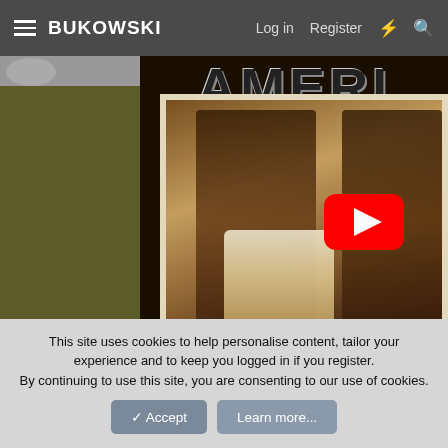BUKOWSKI   Log in   Register
[Figure (screenshot): Website screenshot showing Bukowski forum navigation bar with hamburger menu, site title BUKOWSKI, Log in, Register links, and icons. Below is a partially visible poster image with the text AMERI... and a vintage photograph of Native American figures with a YouTube play button overlay. Left panel shows dark olive/brown color.]
This site uses cookies to help personalise content, tailor your experience and to keep you logged in if you register.
By continuing to use this site, you are consenting to our use of cookies.
✓ Accept   Learn more...